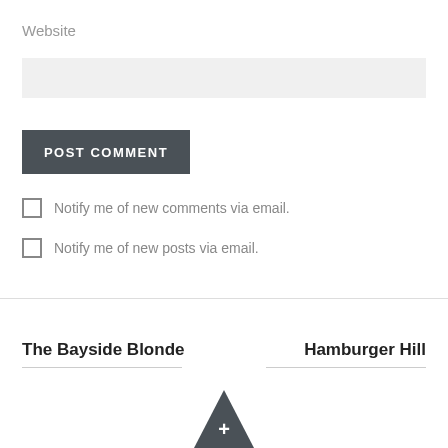Website
POST COMMENT
Notify me of new comments via email.
Notify me of new posts via email.
The Bayside Blonde
Hamburger Hill